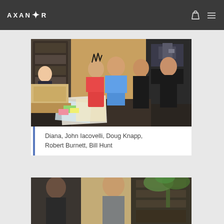AXANR (Axanar logo with navigation icons)
[Figure (photo): Group photo of five people seated/standing in a room with shelves, boxes, and equipment. People identified as Diana, John Iacovelli, Doug Knapp, Robert Burnett, Bill Hunt.]
Diana, John Iacovelli, Doug Knapp, Robert Burnett, Bill Hunt
[Figure (photo): Partial photo showing two people in an office/conference room setting with a bookshelf and palm plant visible.]